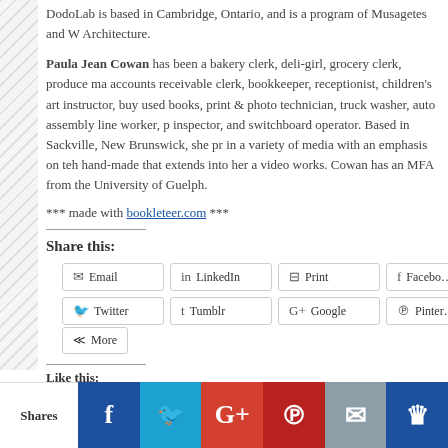DodoLab is based in Cambridge, Ontario, and is a program of Musagetes and W Architecture.
Paula Jean Cowan has been a bakery clerk, deli-girl, grocery clerk, produce ma accounts receivable clerk, bookkeeper, receptionist, children's art instructor, buy used books, print & photo technician, truck washer, auto assembly line worker, p inspector, and switchboard operator. Based in Sackville, New Brunswick, she pr in a variety of media with an emphasis on teh hand-made that extends into her a video works. Cowan has an MFA from the University of Guelph.
*** made with bookleteer.com ***
Share this:
[Figure (infographic): Social sharing buttons: Email, LinkedIn, Print, Facebook, Twitter, Tumblr, Google, Pinterest, More]
Like this: